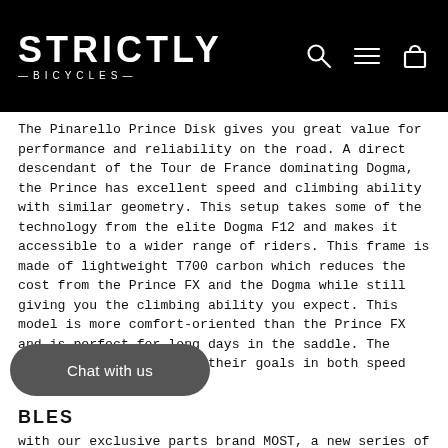STRICTLY —BICYCLES—
The Pinarello Prince Disk gives you great value for performance and reliability on the road. A direct descendant of the Tour de France dominating Dogma, the Prince has excellent speed and climbing ability with similar geometry. This setup takes some of the technology from the elite Dogma F12 and makes it accessible to a wider range of riders. This frame is made of lightweight T700 carbon which reduces the cost from the Prince FX and the Dogma while still giving you the climbing ability you expect. This model is more comfort-oriented than the Prince FX and is perfect for long days in the saddle. The Prince helps riders hit their goals in both speed and distance.
BLES
with our exclusive parts brand MOST, a new series of TiCR ready handlebars and stems have been created, ready to accommodate the